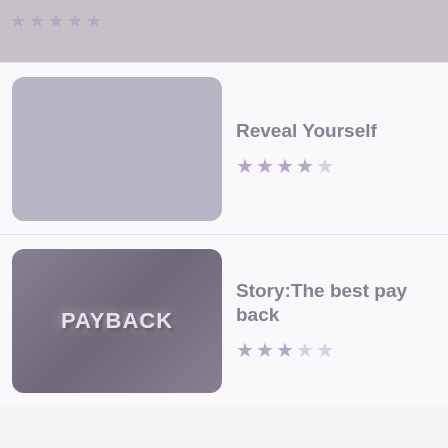[Figure (screenshot): Partial top item with star rating visible at top of list]
Reveal Yourself — 4 star rating
Story:The best pay back — 3 star rating
Why Do Men Neglect Their Health? — 2 star rating
Today's Inspiration: Control or Can't Control — 1 star rating
How do you remain cool in every situation